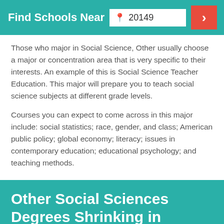Find Schools Near  20149
Those who major in Social Science, Other usually choose a major or concentration area that is very specific to their interests. An example of this is Social Science Teacher Education. This major will prepare you to teach social science subjects at different grade levels.
Courses you can expect to come across in this major include: social statistics; race, gender, and class; American public policy; global economy; literacy; issues in contemporary education; educational psychology; and teaching methods.
Other Social Sciences Degrees Shrinking in Popularity